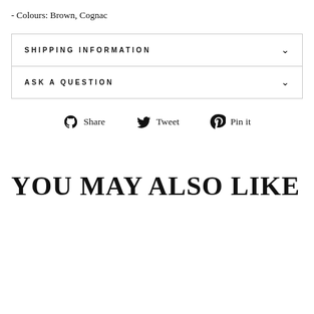- Colours: Brown, Cognac
| SHIPPING INFORMATION |  |
| ASK A QUESTION |  |
Share   Tweet   Pin it
YOU MAY ALSO LIKE